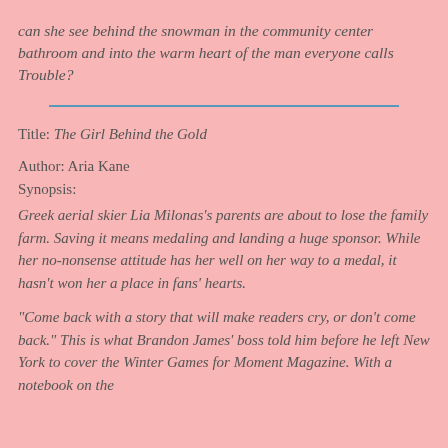can she see behind the snowman in the community center bathroom and into the warm heart of the man everyone calls Trouble?
Title: The Girl Behind the Gold
Author: Aria Kane
Synopsis:
Greek aerial skier Lia Milonas's parents are about to lose the family farm. Saving it means medaling and landing a huge sponsor. While her no-nonsense attitude has her well on her way to a medal, it hasn't won her a place in fans' hearts.
“Come back with a story that will make readers cry, or don’t come back.” This is what Brandon James' boss told him before he left New York to cover the Winter Games for Moment Magazine. With a notebook on the